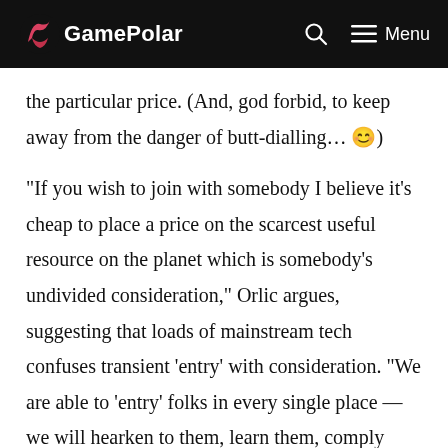GamePolar
the particular price. (And, god forbid, to keep away from the danger of butt-dialling… 😊)
“If you wish to join with somebody I believe it’s cheap to place a price on the scarcest useful resource on the planet which is somebody’s undivided consideration,” Orlic argues, suggesting that loads of mainstream tech confuses transient ‘entry’ with consideration. “We are able to ‘entry’ folks in every single place — we will hearken to them, learn them, comply with them. However that’s not the identical as consideration…